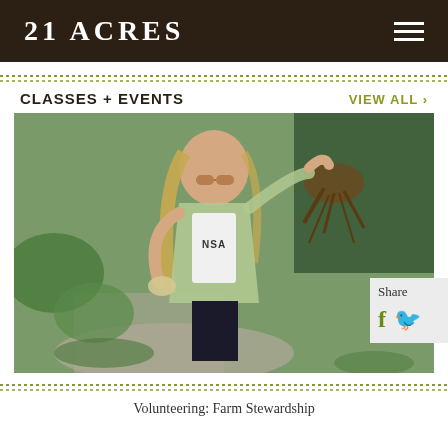21 ACRES
CLASSES + EVENTS
VIEW ALL ›
[Figure (photo): Young woman with long braided hair and sunglasses, wearing a plaid shirt over a white NASA t-shirt and gloves, holding up a plant root ball in an outdoor farm/garden setting with trees and gravel path in background.]
Volunteering: Farm Stewardship